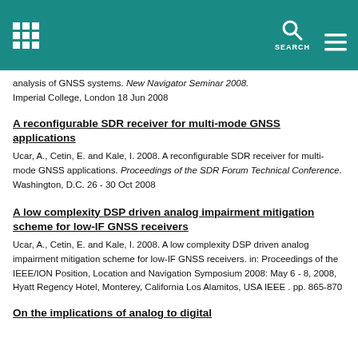analysis of GNSS systems. New Navigator Seminar 2008. Imperial College, London 18 Jun 2008
A reconfigurable SDR receiver for multi-mode GNSS applications
Ucar, A., Cetin, E. and Kale, I. 2008. A reconfigurable SDR receiver for multi-mode GNSS applications. Proceedings of the SDR Forum Technical Conference. Washington, D.C. 26 - 30 Oct 2008
A low complexity DSP driven analog impairment mitigation scheme for low-IF GNSS receivers
Ucar, A., Cetin, E. and Kale, I. 2008. A low complexity DSP driven analog impairment mitigation scheme for low-IF GNSS receivers. in: Proceedings of the IEEE/ION Position, Location and Navigation Symposium 2008: May 6 - 8, 2008, Hyatt Regency Hotel, Monterey, California Los Alamitos, USA IEEE . pp. 865-870
On the implications of analog to digital